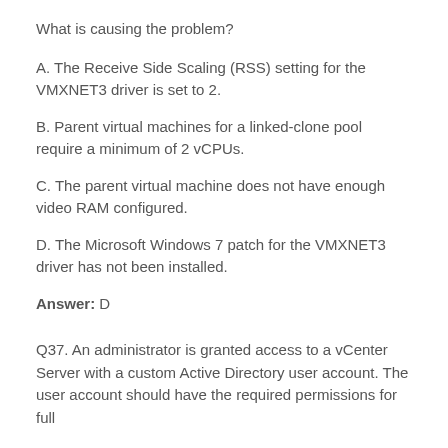What is causing the problem?
A. The Receive Side Scaling (RSS) setting for the VMXNET3 driver is set to 2.
B. Parent virtual machines for a linked-clone pool require a minimum of 2 vCPUs.
C. The parent virtual machine does not have enough video RAM configured.
D. The Microsoft Windows 7 patch for the VMXNET3 driver has not been installed.
Answer: D
Q37. An administrator is granted access to a vCenter Server with a custom Active Directory user account. The user account should have the required permissions for full